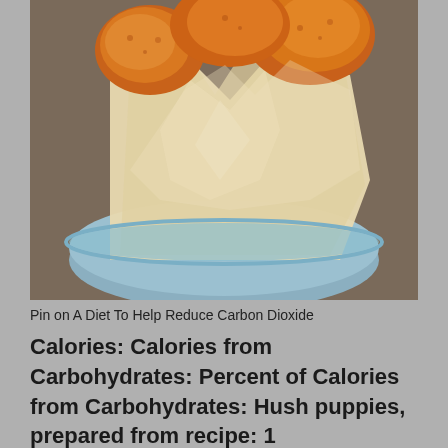[Figure (photo): Fried hush puppies in a blue bowl lined with parchment paper, viewed from above. The food items are golden-brown and crispy-looking.]
Pin on A Diet To Help Reduce Carbon Dioxide
Calories: Calories from Carbohydrates: Percent of Calories from Carbohydrates: Hush puppies, prepared from recipe: 1